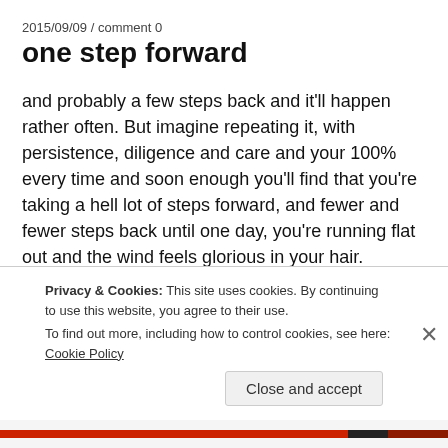2015/09/09 / comment 0
one step forward
and probably a few steps back and it'll happen rather often. But imagine repeating it, with persistence, diligence and care and your 100% every time and soon enough you'll find that you're taking a hell lot of steps forward, and fewer and fewer steps back until one day, you're running flat out and the wind feels glorious in your hair.
I'm taking my one step today. My fitness has taken a drastic hit lately thanks to a DeQuervain tenosynovitis for my left hand
Privacy & Cookies: This site uses cookies. By continuing to use this website, you agree to their use.
To find out more, including how to control cookies, see here: Cookie Policy
Close and accept